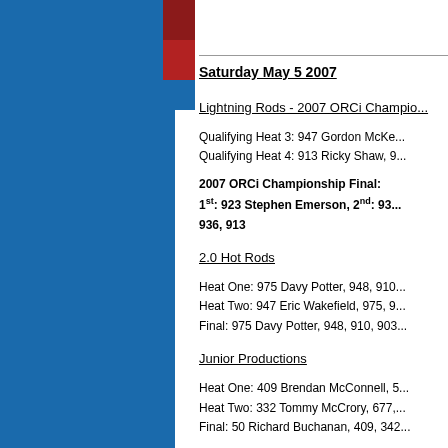[Figure (photo): Blue panel on left side with red photo strip]
Saturday May 5 2007
Lightning Rods - 2007 ORCi Championship
Qualifying Heat 3: 947 Gordon McKee...
Qualifying Heat 4: 913 Ricky Shaw, 9...
2007 ORCi Championship Final: 1st: 923 Stephen Emerson, 2nd: 93... 936, 913
2.0 Hot Rods
Heat One: 975 Davy Potter, 948, 910...
Heat Two: 947 Eric Wakefield, 975, 9...
Final: 975 Davy Potter, 948, 910, 903...
Junior Productions
Heat One: 409 Brendan McConnell, 5...
Heat Two: 332 Tommy McCrory, 677,...
Final: 50 Richard Buchanan, 409, 342...
Many thanks to our sponsor – McClur...
Saturday April 28 2007